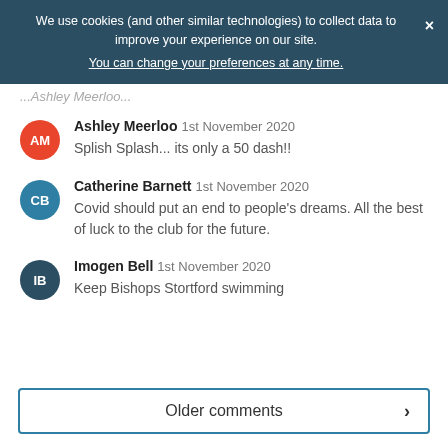We use cookies (and other similar technologies) to collect data to improve your experience on our site.
You can change your preferences at any time.
...Ashley Meerloo...
Ashley Meerloo 1st November 2020
Splish Splash... its only a 50 dash!!
Catherine Barnett 1st November 2020
Covid should put an end to people's dreams. All the best of luck to the club for the future.
Imogen Bell 1st November 2020
Keep Bishops Stortford swimming
Older comments